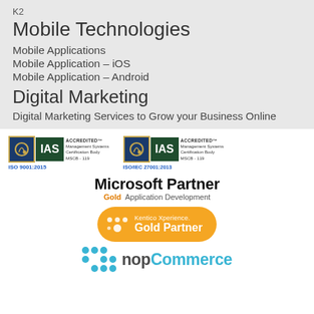K2
Mobile Technologies
Mobile Applications
Mobile Application – iOS
Mobile Application – Android
Digital Marketing
Digital Marketing Services to Grow your Business Online
[Figure (logo): IAS Accredited Management Systems Certification Body MSCB-119 ISO 9001:2015 badge]
[Figure (logo): IAS Accredited Management Systems Certification Body MSCB-119 ISO/IEC 27001:2013 badge]
[Figure (logo): Microsoft Partner Gold Application Development logo]
[Figure (logo): Kentico Xperience Gold Partner badge]
[Figure (logo): nopCommerce logo with teal dot grid]